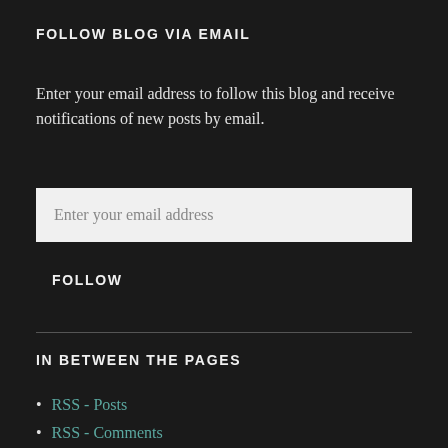FOLLOW BLOG VIA EMAIL
Enter your email address to follow this blog and receive notifications of new posts by email.
[Figure (other): Email input field with placeholder text 'Enter your email address']
FOLLOW
IN BETWEEN THE PAGES
RSS - Posts
RSS - Comments